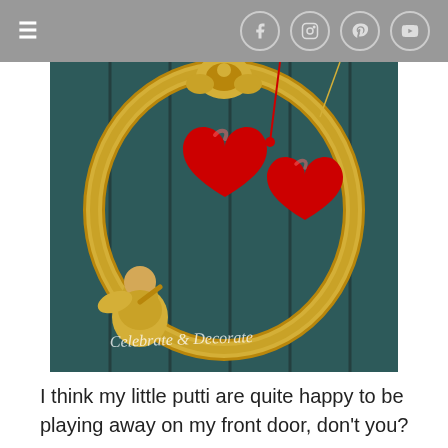≡  [Facebook] [Instagram] [Pinterest] [YouTube]
[Figure (photo): A gold ornate oval frame with a cherub/putti figure at the bottom, hanging against a dark teal paneled door. Two large shiny red heart ornaments hang inside the frame. A script watermark reads 'Celebrate & Decorate' at the bottom of the image.]
I think my little putti are quite happy to be playing away on my front door, don't you?